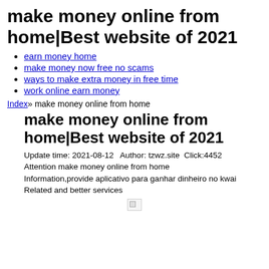make money online from home|Best website of 2021
earn money home
make money now free no scams
ways to make extra money in free time
work online earn money
Index» make money online from home
make money online from home|Best website of 2021
Update time: 2021-08-12   Author: tzwz.site  Click:4452
Attention make money online from home
Information,provide aplicativo para ganhar dinheiro no kwai Related and better services
[Figure (other): Broken image placeholder icon]